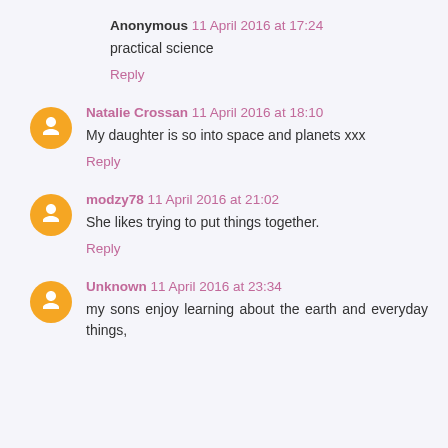Anonymous 11 April 2016 at 17:24
practical science
Reply
Natalie Crossan 11 April 2016 at 18:10
My daughter is so into space and planets xxx
Reply
modzy78 11 April 2016 at 21:02
She likes trying to put things together.
Reply
Unknown 11 April 2016 at 23:34
my sons enjoy learning about the earth and everyday things,